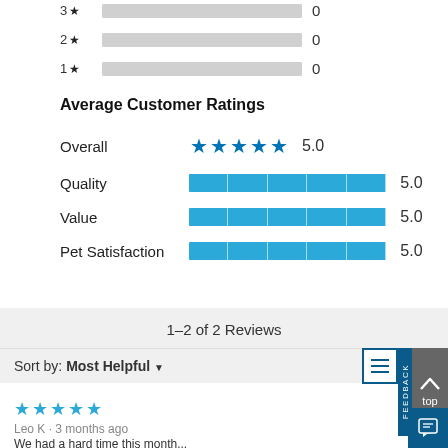[Figure (bar-chart): Star Rating Distribution (partial)]
Average Customer Ratings
| Category | Rating | Score |
| --- | --- | --- |
| Overall | ★★★★★ | 5.0 |
| Quality | [bar] | 5.0 |
| Value | [bar] | 5.0 |
| Pet Satisfaction | [bar] | 5.0 |
1–2 of 2 Reviews
Sort by: Most Helpful ▼
[Figure (other): FEEDBACK tab and top button on right side]
[Figure (other): Five blue star rating icon]
Leo K · 3 months ago
We had a hard time this month…